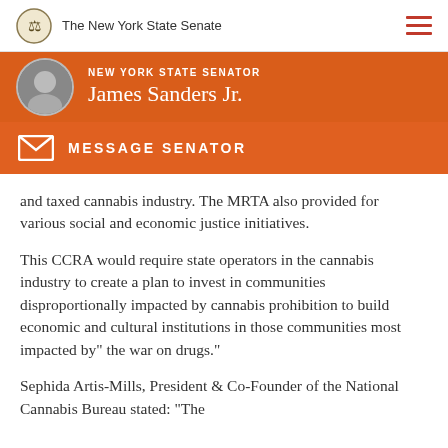The New York State Senate
NEW YORK STATE SENATOR James Sanders Jr.
MESSAGE SENATOR
and taxed cannabis industry. The MRTA also provided for various social and economic justice initiatives.
This CCRA would require state operators in the cannabis industry to create a plan to invest in communities disproportionally impacted by cannabis prohibition to build economic and cultural institutions in those communities most impacted by" the war on drugs."
Sephida Artis-Mills, President & Co-Founder of the National Cannabis Bureau stated: "The